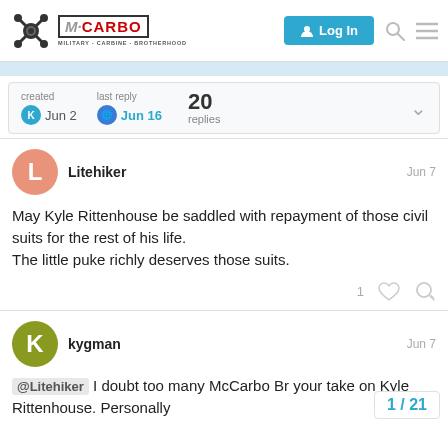MCARBO MILITARY + CARBINE + BROTHERHOOD | Log In
created Jun 2  last reply Jun 16  20 replies
Litehiker  Jun 7
May Kyle Rittenhouse be saddled with repayment of those civil suits for the rest of his life.
The little puke richly deserves those suits.
kygman  Jun 7
@Litehiker I doubt too many McCarbo Br your take on Kyle Rittenhouse. Personally